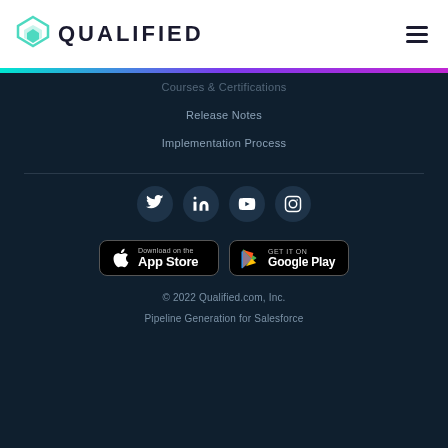QUALIFIED
Courses & Certifications
Release Notes
Implementation Process
[Figure (illustration): Social media icons row: Twitter, LinkedIn, YouTube, Instagram in dark circular buttons]
[Figure (illustration): Download on the App Store and Get it on Google Play store buttons]
© 2022 Qualified.com, Inc.
Pipeline Generation for Salesforce